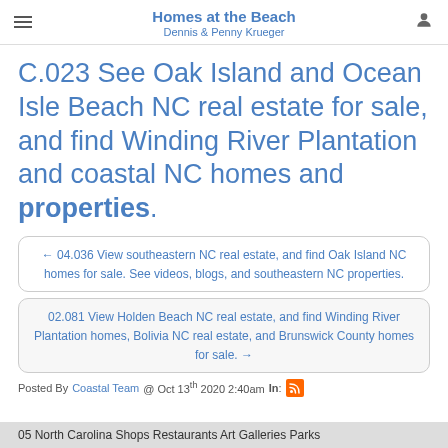Homes at the Beach
Dennis & Penny Krueger
C.023 See Oak Island and Ocean Isle Beach NC real estate for sale, and find Winding River Plantation and coastal NC homes and properties.
← 04.036 View southeastern NC real estate, and find Oak Island NC homes for sale. See videos, blogs, and southeastern NC properties.
02.081 View Holden Beach NC real estate, and find Winding River Plantation homes, Bolivia NC real estate, and Brunswick County homes for sale. →
Posted By Coastal Team @ Oct 13th 2020 2:40am In:
05 North Carolina Shops Restaurants Art Galleries Parks